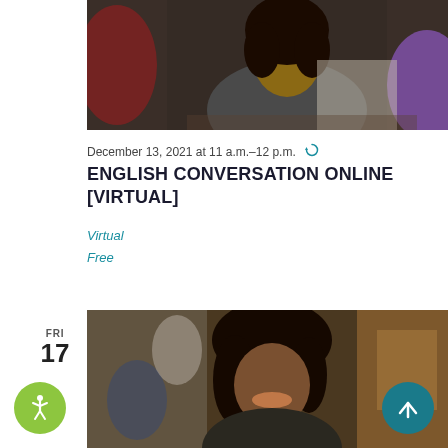[Figure (photo): Two women in a library or classroom setting, one wearing a dark gray long-sleeve shirt with curly dark hair, another in purple in the background.]
December 13, 2021 at 11 a.m.–12 p.m. ↻
ENGLISH CONVERSATION ONLINE [VIRTUAL]
Virtual
Free
FRI 17
[Figure (photo): A smiling woman with curly dark hair in a library or classroom setting.]